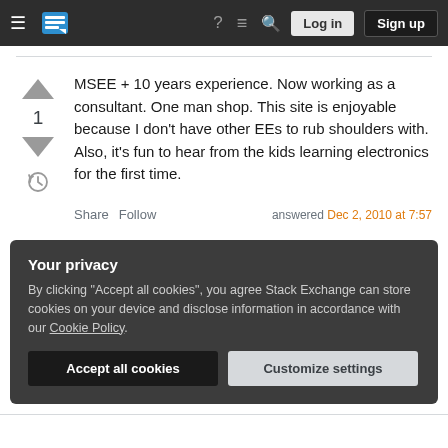Stack Exchange navigation bar with Log in and Sign up buttons
MSEE + 10 years experience. Now working as a consultant. One man shop. This site is enjoyable because I don't have other EEs to rub shoulders with. Also, it's fun to hear from the kids learning electronics for the first time.
Share  Follow  answered Dec 2, 2010 at 7:57
Your privacy
By clicking "Accept all cookies", you agree Stack Exchange can store cookies on your device and disclose information in accordance with our Cookie Policy.
Accept all cookies   Customize settings